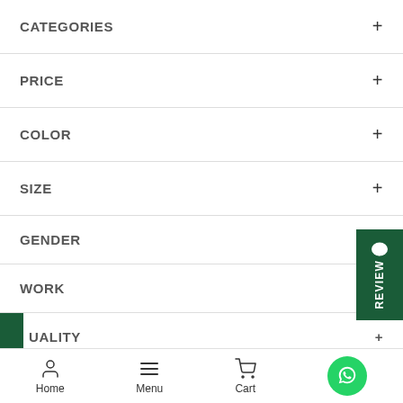CATEGORIES +
PRICE +
COLOR +
SIZE +
GENDER
[Figure (other): Dark green vertical review badge with chat bubble icon and rotated 'REVIEW' text]
WORK
QUALITY +
Home  Menu  Cart  WhatsApp